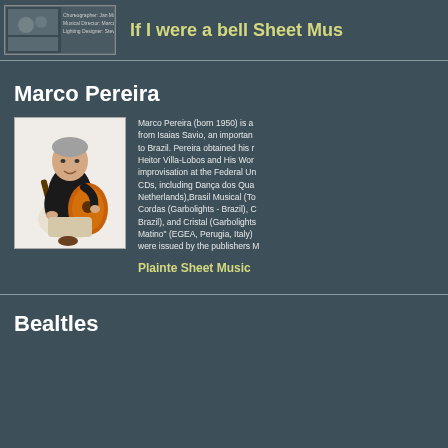[Figure (photo): Small thumbnail image of a theater production showing performers and crew credits text]
If I were a bell Sheet Mus
Marco Pereira
[Figure (photo): Photo of Marco Pereira, a man with gray hair sitting and playing classical guitar, wearing dark top and light pants]
Marco Pereira (born 1950) is a from Isaias Savio, an importan to Brazil. Pereira obtained his r Heitor Villa-Lobos and His Wor improvisation at the Federal Un CDs, including Dança dos Qua Netherlands),Brasil Musical (To Cordas (Garbolights - Brazil), C Brazil), and Cristal (Garbolights Matino" (EGEA, Perugia, Italy) were issued by the publishers M
Plainte Sheet Music
Bealtles